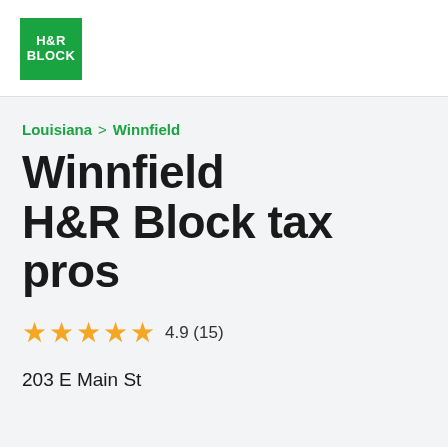[Figure (logo): H&R Block green square logo with white text reading H&R BLOCK]
Louisiana > Winnfield
Winnfield H&R Block tax pros
★★★★★ 4.9 (15)
203 E Main St